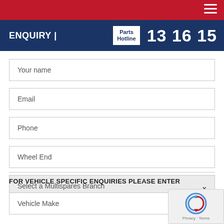ENQUIRY | Parts Hotline 13 16 15
Your name
Email
Phone
Wheel End
Select a Multispares Branch
FOR VEHICLE SPECIFIC ENQUIRIES PLEASE ENTER
Vehicle Make